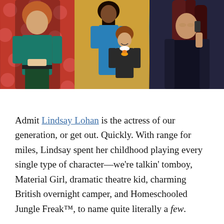[Figure (photo): Three photos of Lindsay Lohan side by side: left photo shows her as a tomboy with red/orange hair holding something, red polka-dot background; center photo shows her as a young girl with a woman in blue dress; right photo shows her talking on a phone in dark clothing.]
Admit Lindsay Lohan is the actress of our generation, or get out. Quickly. With range for miles, Lindsay spent her childhood playing every single type of character—we're talkin' tomboy, Material Girl, dramatic theatre kid, charming British overnight camper, and Homeschooled Jungle Freak™, to name quite literally a few.